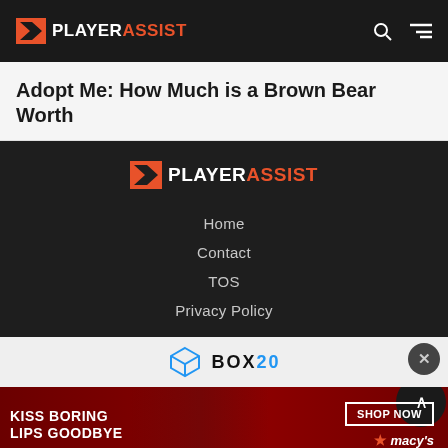PLAYER ASSIST
Adopt Me: How Much is a Brown Bear Worth
[Figure (logo): PlayerAssist logo in footer - white PLAYER text with orange ASSIST, with geometric icon]
Home
Contact
TOS
Privacy Policy
[Figure (logo): BOX20 logo with blue 3D box icon and BOX20 text]
[Figure (photo): Macy's advertisement banner: KISS BORING LIPS GOODBYE with SHOP NOW button and macy's star logo, dark red background with woman's face]